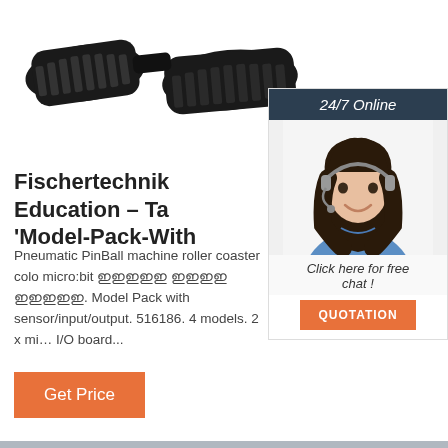[Figure (photo): Rubber tank tracks / crawler track product photo on white background]
[Figure (photo): 24/7 Online customer support widget with photo of smiling woman with headset, 'Click here for free chat!' text and QUOTATION button]
Fischertechnik Education – Ta 'Model-Pack-With
Pneumatic PinBall machine roller coaster colo micro:bit ഇഇഇഇഇ ഇഇഇഇ ഇഇഇഇഇ. Model Pack with sensor/input/output. 516186. 4 models. 2 x mi… I/O board...
Get Price